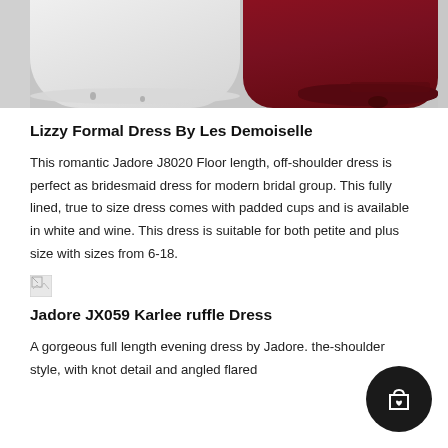[Figure (photo): Product photo showing two formal dresses hanging side by side — a white/light dress on the left and a dark wine/burgundy dress on the right, showing the lower portion with ruffled hems against a light grey background.]
Lizzy Formal Dress By Les Demoiselle
This romantic Jadore J8020 Floor length, off-shoulder dress is perfect as bridesmaid dress for modern bridal group. This fully lined, true to size dress comes with padded cups and is available in white and wine. This dress is suitable for both petite and plus size with sizes from 6-18.
[Figure (photo): Small thumbnail image (broken/loading) for the Jadore JX059 Karlee ruffle Dress.]
Jadore JX059 Karlee ruffle Dress
A gorgeous full length evening dress by Jadore. the-shoulder style, with knot detail and angled flared